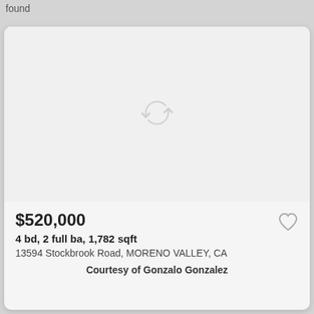found
[Figure (screenshot): Gray placeholder image area with a refresh/reload spinner icon in the center, indicating an image failed to load]
$520,000
4 bd, 2 full ba, 1,782 sqft
13594 Stockbrook Road, MORENO VALLEY, CA
Courtesy of Gonzalo Gonzalez